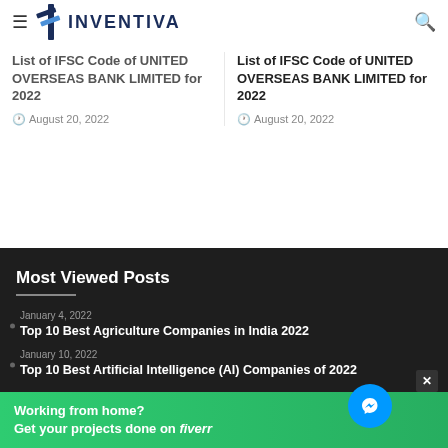Inventiva - Navigation bar with logo
List of IFSC Code of UNITED OVERSEAS BANK LIMITED for 2022
August 20, 2022
Most Viewed Posts
January 4, 2022 - Top 10 Best Agriculture Companies in India 2022
January 10, 2022 - Top 10 Best Artificial Intelligence (AI) Companies of 2022